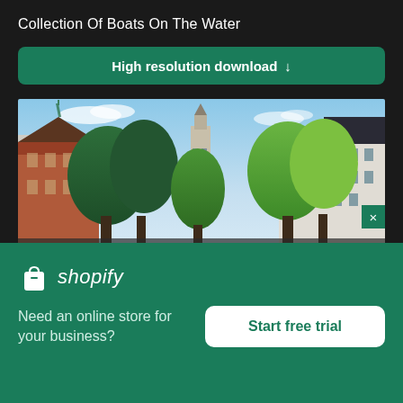Collection Of Boats On The Water
High resolution download ↓
[Figure (photo): Street-level view of a Dutch canal town with green trees, historic brick buildings, white facades, and a church tower visible in the background under a partly cloudy blue sky]
[Figure (logo): Shopify logo with white shopping bag icon and white italic 'shopify' text on green background]
Need an online store for your business?
Start free trial